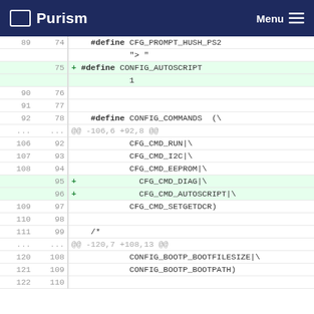Purism  Menu
| old | new | code |
| --- | --- | --- |
| 89 | 74 |     #define CFG_PROMPT_HUSH_PS2 |
|  |  |             "> " |
|  | 75 | + #define CONFIG_AUTOSCRIPT |
|  |  |             1 |
| 90 | 76 |  |
| 91 | 77 |  |
| 92 | 78 |     #define CONFIG_COMMANDS  (\ |
| ... | ... | @@ -106,6 +92,8 @@ |
| 106 | 92 |             CFG_CMD_RUN|\ |
| 107 | 93 |             CFG_CMD_I2C|\ |
| 108 | 94 |             CFG_CMD_EEPROM|\ |
|  | 95 | +           CFG_CMD_DIAG|\ |
|  | 96 | +           CFG_CMD_AUTOSCRIPT|\ |
| 109 | 97 |             CFG_CMD_SETGETDCR) |
| 110 | 98 |  |
| 111 | 99 |     /* |
| ... | ... | @@ -120,7 +108,13 @@ |
| 120 | 108 |             CONFIG_BOOTP_BOOTFILESIZE|\ |
| 121 | 109 |             CONFIG_BOOTP_BOOTPATH) |
| 122 | 110 |  |